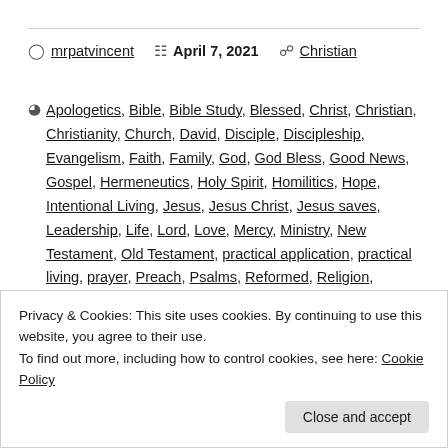mrpatvincent   April 7, 2021   Christian
Apologetics, Bible, Bible Study, Blessed, Christ, Christian, Christianity, Church, David, Disciple, Discipleship, Evangelism, Faith, Family, God, God Bless, Good News, Gospel, Hermeneutics, Holy Spirit, Homilitics, Hope, Intentional Living, Jesus, Jesus Christ, Jesus saves, Leadership, Life, Lord, Love, Mercy, Ministry, New Testament, Old Testament, practical application, practical living, prayer, Preach, Psalms, Reformed, Religion, Religion & Spirituality, Religion and Spirituality, Salvation, ...
Privacy & Cookies: This site uses cookies. By continuing to use this website, you agree to their use. To find out more, including how to control cookies, see here: Cookie Policy
Close and accept